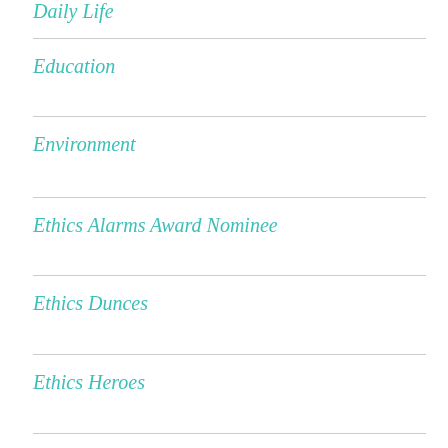Daily Life
Education
Environment
Ethics Alarms Award Nominee
Ethics Dunces
Ethics Heroes
Ethics Quotes